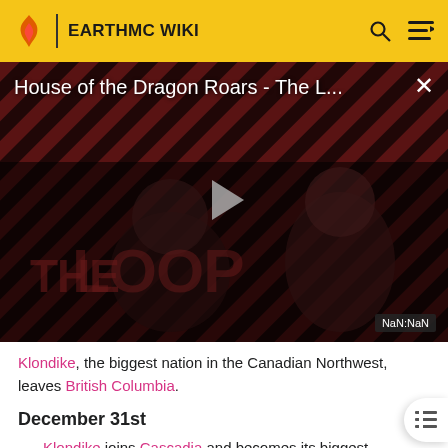EARTHMC WIKI
[Figure (screenshot): Video advertisement overlay showing 'House of the Dragon Roars - The L...' with a play button, diagonal striped background in red and dark colors, figures of people, THE LOOP text watermark, and NaN:NaN timestamp badge]
Klondike, the biggest nation in the Canadian Northwest, leaves British Columbia.
December 31st
Klondike joins Cascadia and becomes its biggest province.